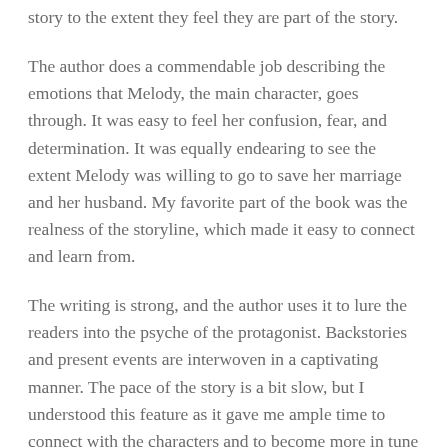story to the extent they feel they are part of the story.
The author does a commendable job describing the emotions that Melody, the main character, goes through. It was easy to feel her confusion, fear, and determination. It was equally endearing to see the extent Melody was willing to go to save her marriage and her husband. My favorite part of the book was the realness of the storyline, which made it easy to connect and learn from.
The writing is strong, and the author uses it to lure the readers into the psyche of the protagonist. Backstories and present events are interwoven in a captivating manner. The pace of the story is a bit slow, but I understood this feature as it gave me ample time to connect with the characters and to become more in tune with Jeff and Melody's situation.